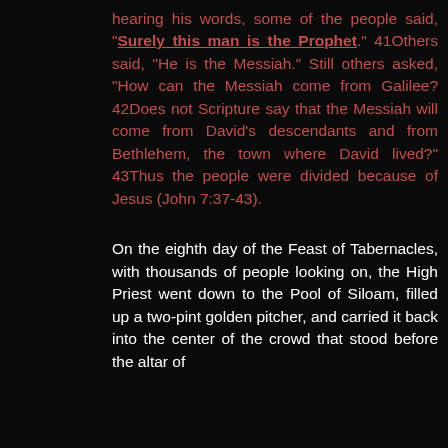hearing his words, some of the people said, "Surely this man is the Prophet." 41Others said, "He is the Messiah." Still others asked, "How can the Messiah come from Galilee? 42Does not Scripture say that the Messiah will come from David's descendants and from Bethlehem, the town where David lived?" 43Thus the people were divided because of Jesus (John 7:37-43).
On the eighth day of the Feast of Tabernacles, with thousands of people looking on, the High Priest went down to the Pool of Siloam, filled up a two-pint golden pitcher, and carried it back into the center of the crowd that stood before the altar of